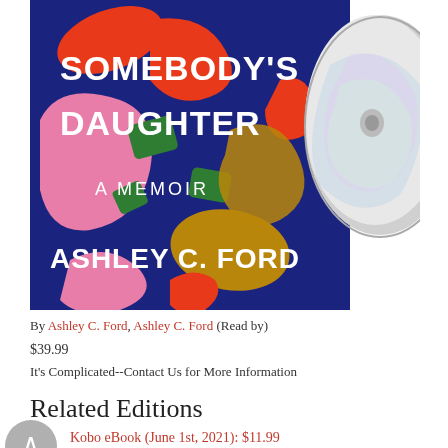[Figure (photo): Audiobook cover for 'Somebody's Daughter: A Memoir' by Ashley C. Ford, with a dark blue background and colorful abstract shapes (red, green, pink, tan swirls). A CD disc is visible on the right side of the cover.]
By Ashley C. Ford, Ashley C. Ford (Read by)
$39.99
It's Complicated--Contact Us for More Information
Related Editions
Kobo eBook (June 1st, 2021): $11.99
Paperback (May 3rd, 2022): $17.00